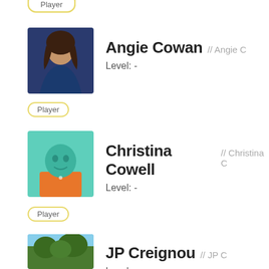[Figure (photo): Partial yellow 'Player' badge visible at top of page]
[Figure (photo): Profile photo of Angie Cowan, a woman with curly dark hair wearing a blue top]
Angie Cowan // Angie C
Level: -
Player
[Figure (illustration): Default avatar: teal/green silhouette figure on orange background]
Christina Cowell // Christina C
Level: -
Player
[Figure (photo): Profile photo of JP Creignou, outdoor scene with trees and blue sky]
JP Creignou // JP C
Level: -
Player